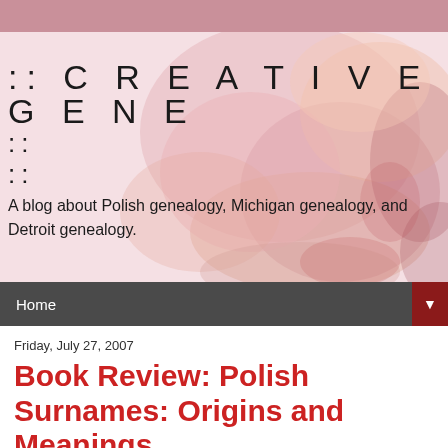[Figure (illustration): Blog header with watercolor floral background and site title :: CREATIVEGENE]
:: C R E A T I V E G E N E
A blog about Polish genealogy, Michigan genealogy, and Detroit genealogy.
Home
Friday, July 27, 2007
Book Review: Polish Surnames: Origins and Meanings
Book Review by Robert Postula
POLISH SURNAMES: ORIGINS AND MEANINGS (Second